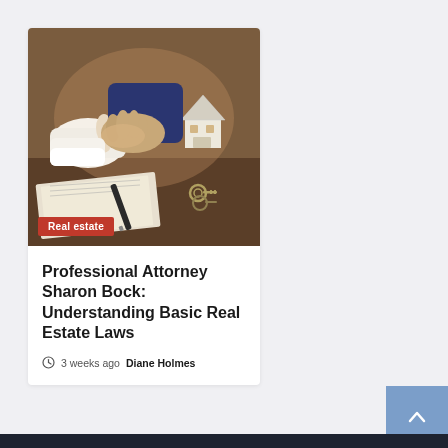[Figure (photo): Two people shaking hands over a desk with a miniature house model, documents and keys visible, warm brown tones. Real estate deal concept photo.]
Real estate
Professional Attorney Sharon Bock: Understanding Basic Real Estate Laws
3 weeks ago  Diane Holmes